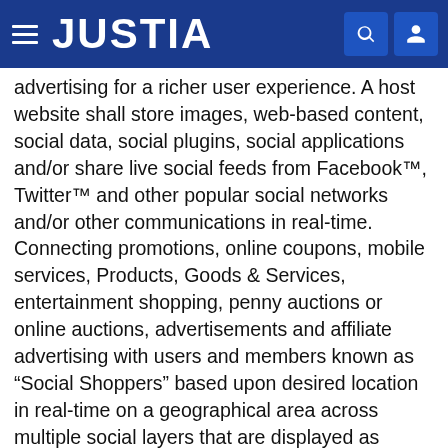JUSTIA
advertising for a richer user experience. A host website shall store images, web-based content, social data, social plugins, social applications and/or share live social feeds from Facebook™, Twitter™ and other popular social networks and/or other communications in real-time. Connecting promotions, online coupons, mobile services, Products, Goods & Services, entertainment shopping, penny auctions or online auctions, advertisements and affiliate advertising with users and members known as “Social Shoppers” based upon desired location in real-time on a geographical area across multiple social layers that are displayed as graphic animated color overlays on a three dimensional geospatial platform using geospatial mapping technology.” The invention can also provide payment method and/or system for effectuating an online payment through a computer or mobile device to